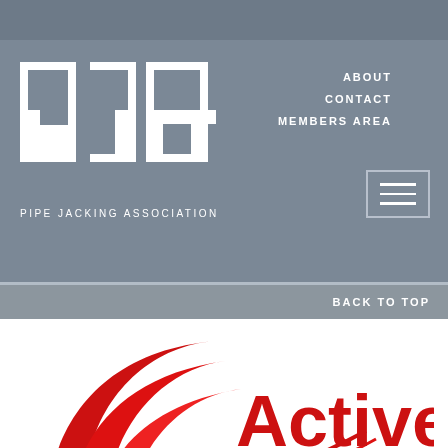[Figure (logo): PJA - Pipe Jacking Association logo with white block letters on grey background]
ABOUT
CONTACT
MEMBERS AREA
BACK TO TOP
[Figure (logo): Active Tunnelling logo with red swoosh graphic and red text]
Active Tunnelling Ltd
International House